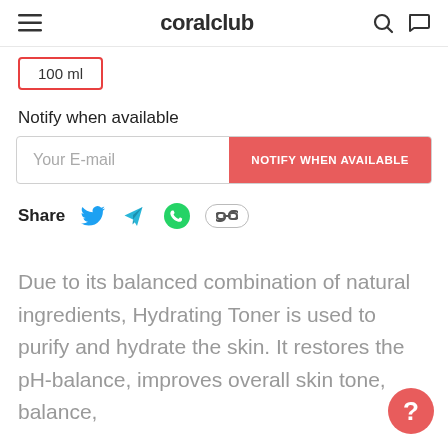coralclub
100 ml
Notify when available
Your E-mail
NOTIFY WHEN AVAILABLE
Share
Due to its balanced combination of natural ingredients, Hydrating Toner is used to purify and hydrate the skin. It restores the pH-balance, improves overall skin tone, balance,